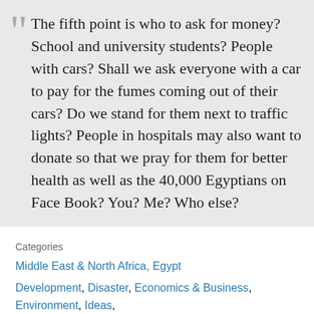The fifth point is who to ask for money? School and university students? People with cars? Shall we ask everyone with a car to pay for the fumes coming out of their cars? Do we stand for them next to traffic lights? People in hospitals may also want to donate so that we pray for them for better health as well as the 40,000 Egyptians on Face Book? You? Me? Who else?
Categories
Middle East & North Africa, Egypt
Development, Disaster, Economics & Business, Environment, Ideas, Science, Youth
Written by
Amira Al Hussaini